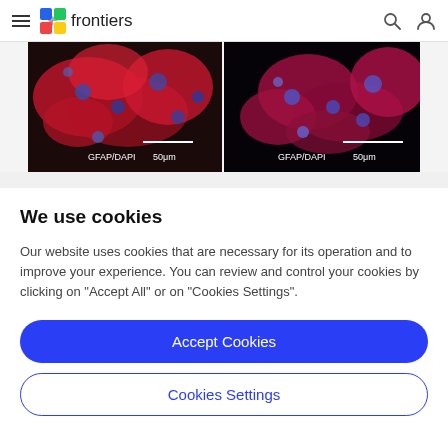frontiers
[Figure (photo): Two fluorescence microscopy images side by side showing GFAP/DAPI staining with scale bars of 50μm each. Left image shows red/blue staining on dark background. Right image shows similar staining on black background.]
We use cookies
Our website uses cookies that are necessary for its operation and to improve your experience. You can review and control your cookies by clicking on "Accept All" or on "Cookies Settings".
Accept Cookies
Cookies Settings